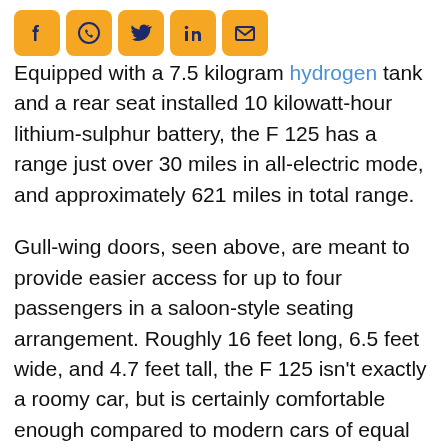[Figure (infographic): Social media sharing icons: Facebook, WhatsApp, Twitter, LinkedIn, Email — orange rounded square buttons]
Equipped with a 7.5 kilogram hydrogen tank and a rear seat installed 10 kilowatt-hour lithium-sulphur battery, the F 125 has a range just over 30 miles in all-electric mode, and approximately 621 miles in total range.
Gull-wing doors, seen above, are meant to provide easier access for up to four passengers in a saloon-style seating arrangement. Roughly 16 feet long, 6.5 feet wide, and 4.7 feet tall, the F 125 isn't exactly a roomy car, but is certainly comfortable enough compared to modern cars of equal size. And